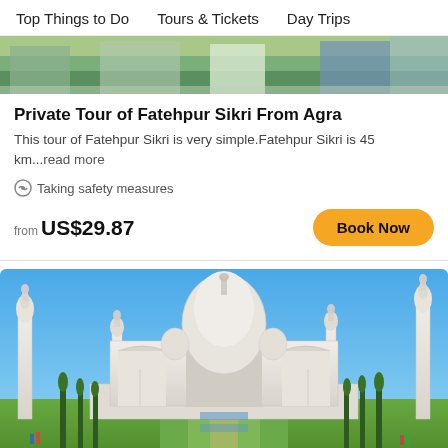Top Things to Do    Tours & Tickets    Day Trips
[Figure (photo): Partial view of visitors at a heritage site, cropped to show only the top portion]
Private Tour of Fatehpur Sikri From Agra
This tour of Fatehpur Sikri is very simple.Fatehpur Sikri is 45 km...read more
Taking safety measures
from US$29.87
[Figure (photo): Photograph of the Taj Mahal in Agra, India, showing the iconic white marble mausoleum with its central dome, four minarets, and cypress trees in the foreground under a clear blue sky]